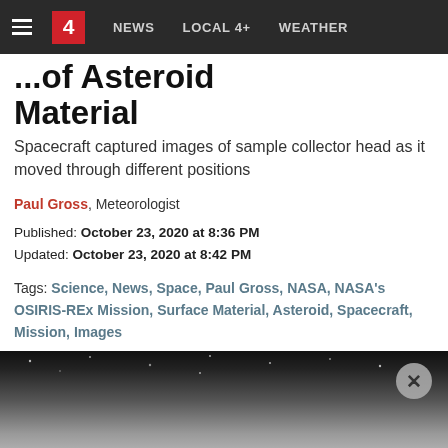4  NEWS  LOCAL 4+  WEATHER
...of Asteroid Material
Spacecraft captured images of sample collector head as it moved through different positions
Paul Gross, Meteorologist
Published: October 23, 2020 at 8:36 PM
Updated: October 23, 2020 at 8:42 PM
Tags: Science, News, Space, Paul Gross, NASA, NASA's OSIRIS-REx Mission, Surface Material, Asteroid, Spacecraft, Mission, Images
[Figure (photo): Dark space/asteroid image partially visible at bottom of page with close button]